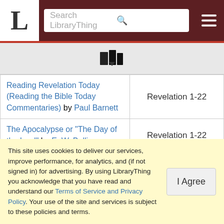LibraryThing - Search LibraryThing
[Figure (logo): LibraryThing book stack logo icon with dropdown arrow]
| Book | Coverage |
| --- | --- |
| Reading Revelation Today (Reading the Bible Today Commentaries) by Paul Barnett | Revelation 1-22 |
| The Apocalypse or "The Day of the Lord" by E. W. Bullinger | Revelation 1-22 |
| Apocalypse: A People's Commentary on the Book of Revelation (Bible & Liberation Series) by Pablo Richard | Revelation 1-22 |
This site uses cookies to deliver our services, improve performance, for analytics, and (if not signed in) for advertising. By using LibraryThing you acknowledge that you have read and understand our Terms of Service and Privacy Policy. Your use of the site and services is subject to these policies and terms.